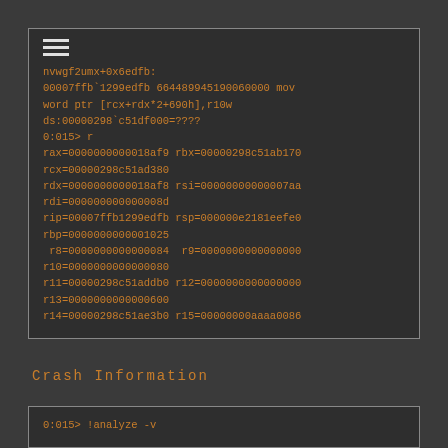[Figure (screenshot): Terminal/debugger output showing register values and assembly instruction. Contains hamburger menu icon at top left, then assembly code and register dump in orange monospace font on dark background.]
Crash Information
[Figure (screenshot): Terminal box at bottom showing start of debugger command: 0:015> !analyze -v]